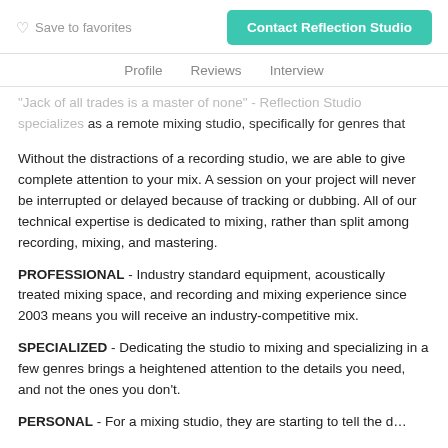Save to favorites | Contact Reflection Studio
Profile   Reviews   Interview
"Jack of all trades is a master of none" - Reflection Studio specializes as a remote mixing studio, specifically for genres that feature common acoustic instruments (drums, guitars, pianos, vocals, etc.) like rock, pop, country, or metal.
Without the distractions of a recording studio, we are able to give complete attention to your mix. A session on your project will never be interrupted or delayed because of tracking or dubbing. All of our technical expertise is dedicated to mixing, rather than split among recording, mixing, and mastering.
PROFESSIONAL - Industry standard equipment, acoustically treated mixing space, and recording and mixing experience since 2003 means you will receive an industry-competitive mix.
SPECIALIZED - Dedicating the studio to mixing and specializing in a few genres brings a heightened attention to the details you need, and not the ones you don't.
PERSONAL - For a mixing studio, they are starting to tell the d…